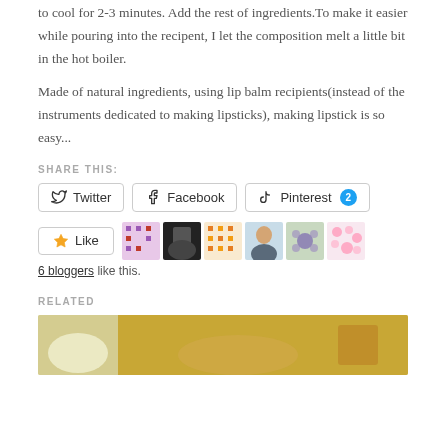to cool for 2-3 minutes. Add the rest of ingredients.To make it easier while pouring into the recipent, I let the composition melt a little bit in the hot boiler.
Made of natural ingredients, using lip balm recipients(instead of the instruments dedicated to making lipsticks), making lipstick is so easy...
SHARE THIS:
[Figure (screenshot): Social share buttons: Twitter, Facebook, Pinterest 2]
[Figure (screenshot): Like button and 6 blogger avatar thumbnails]
6 bloggers like this.
RELATED
[Figure (photo): Related article thumbnail showing a cream/balm product with flowers]